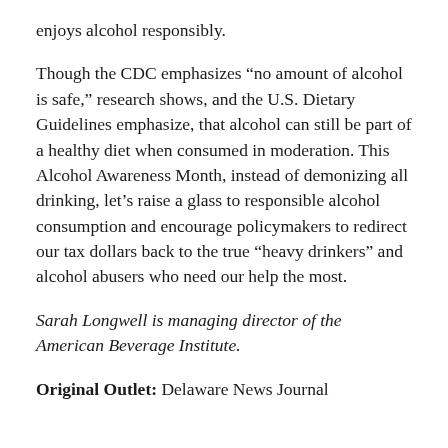enjoys alcohol responsibly.
Though the CDC emphasizes “no amount of alcohol is safe,” research shows, and the U.S. Dietary Guidelines emphasize, that alcohol can still be part of a healthy diet when consumed in moderation. This Alcohol Awareness Month, instead of demonizing all drinking, let’s raise a glass to responsible alcohol consumption and encourage policymakers to redirect our tax dollars back to the true “heavy drinkers” and alcohol abusers who need our help the most.
Sarah Longwell is managing director of the American Beverage Institute.
Original Outlet: Delaware News Journal